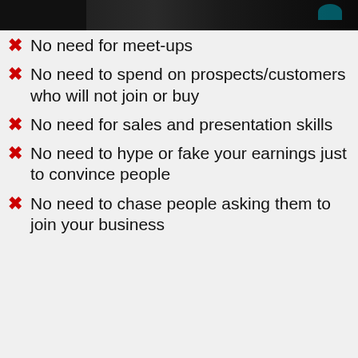[Figure (photo): Partial photo strip at top of page showing a dark scene, partially cropped]
No need for meet-ups
No need to spend on prospects/customers who will not join or buy
No need for sales and presentation skills
No need to hype or fake your earnings just to convince people
No need to chase people asking them to join your business